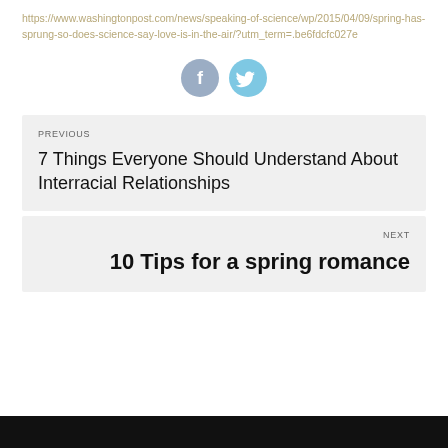https://www.washingtonpost.com/news/speaking-of-science/wp/2015/04/09/spring-has-sprung-so-does-science-say-love-is-in-the-air/?utm_term=.be6fdcfc027e
[Figure (other): Social share buttons: Facebook (blue circle with f icon) and Twitter (light blue circle with bird icon)]
PREVIOUS
7 Things Everyone Should Understand About Interracial Relationships
NEXT
10 Tips for a spring romance